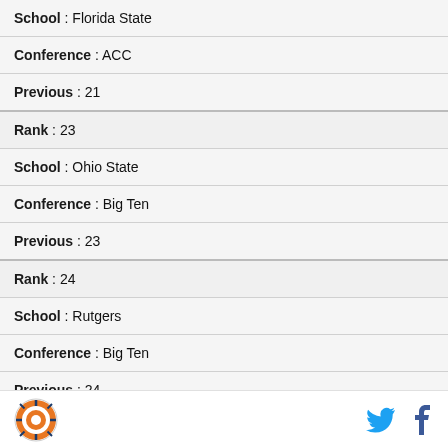School : Florida State
Conference : ACC
Previous : 21
Rank : 23
School : Ohio State
Conference : Big Ten
Previous : 23
Rank : 24
School : Rutgers
Conference : Big Ten
Previous : 24
[Figure (logo): Sports organization circular logo with orange and white design]
[Figure (logo): Twitter bird icon in cyan blue]
[Figure (logo): Facebook f icon in dark blue]